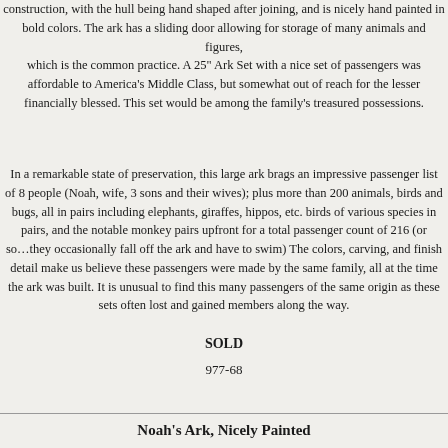construction, with the hull being hand shaped after joining, and is nicely hand painted in bold colors. The ark has a sliding door allowing for storage of many animals and figures, which is the common practice. A 25" Ark Set with a nice set of passengers was affordable to America's Middle Class, but somewhat out of reach for the lesser financially blessed. This set would be among the family's treasured possessions.
In a remarkable state of preservation, this large ark brags an impressive passenger list of 8 people (Noah, wife, 3 sons and their wives); plus more than 200 animals, birds and bugs, all in pairs including elephants, giraffes, hippos, etc. birds of various species in pairs, and the notable monkey pairs upfront for a total passenger count of 216 (or so…they occasionally fall off the ark and have to swim) The colors, carving, and finish detail make us believe these passengers were made by the same family, all at the time the ark was built. It is unusual to find this many passengers of the same origin as these sets often lost and gained members along the way.
SOLD
977-68
Noah's Ark, Nicely Painted